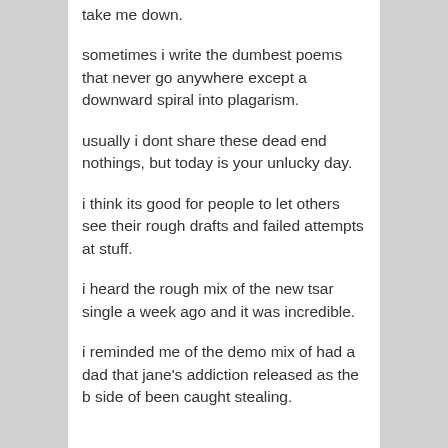take me down.
sometimes i write the dumbest poems that never go anywhere except a downward spiral into plagarism.
usually i dont share these dead end nothings, but today is your unlucky day.
i think its good for people to let others see their rough drafts and failed attempts at stuff.
i heard the rough mix of the new tsar single a week ago and it was incredible.
i reminded me of the demo mix of had a dad that jane's addiction released as the b side of been caught stealing.